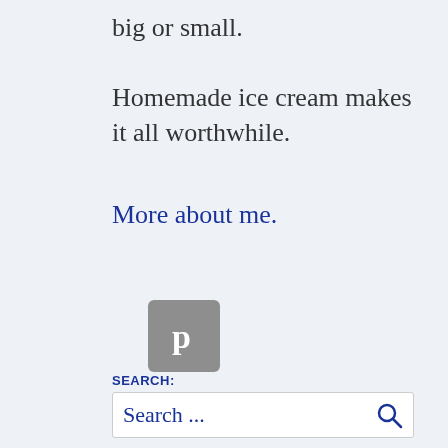big or small.
Homemade ice cream makes it all worthwhile.
More about me.
[Figure (logo): Pinterest icon button — grey rounded square with white letter P]
SEARCH:
Search ...